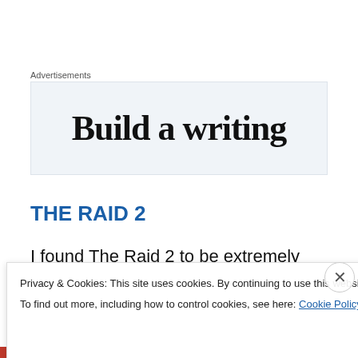Advertisements
[Figure (screenshot): Advertisement box with partial text 'Build a writing' visible in large serif bold font on a light blue-grey background]
THE RAID 2
I found The Raid 2 to be extremely disappointing. The first movie was some of the best action I had seen in a movie
Privacy & Cookies: This site uses cookies. By continuing to use this website, you agree to their use.
To find out more, including how to control cookies, see here: Cookie Policy
Close and accept